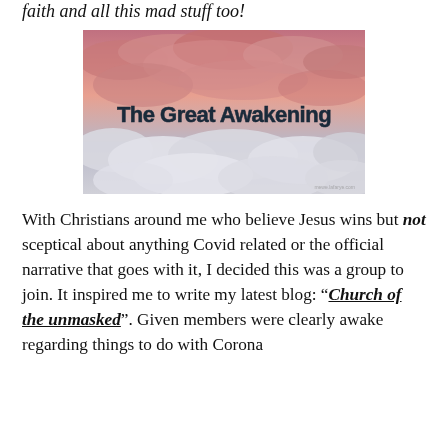faith and all this mad stuff too!
[Figure (photo): Image of clouds with pink/red sky and bold text overlay reading 'The Great Awakening']
With Christians around me who believe Jesus wins but not sceptical about anything Covid related or the official narrative that goes with it, I decided this was a group to join. It inspired me to write my latest blog: “Church of the unmasked”. Given members were clearly awake regarding things to do with Corona